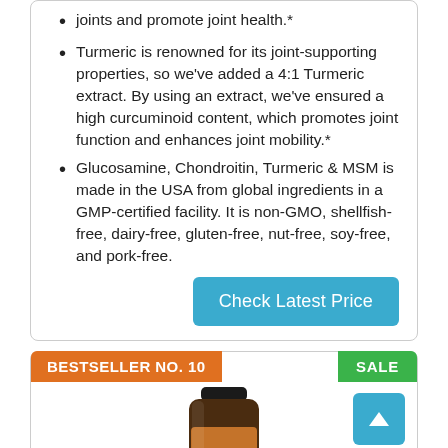joints and promote joint health.*
Turmeric is renowned for its joint-supporting properties, so we’ve added a 4:1 Turmeric extract. By using an extract, we’ve ensured a high curcuminoid content, which promotes joint function and enhances joint mobility.*
Glucosamine, Chondroitin, Turmeric & MSM is made in the USA from global ingredients in a GMP-certified facility. It is non-GMO, shellfish-free, dairy-free, gluten-free, nut-free, soy-free, and pork-free.
Check Latest Price
BESTSELLER NO. 10
SALE
[Figure (photo): NatureWise supplement bottle product image]